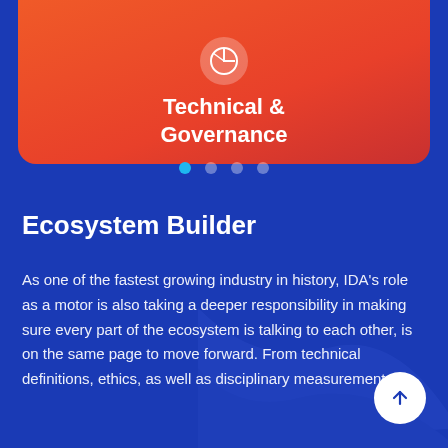[Figure (infographic): Orange/red gradient card with a shield/pie icon and title 'Technical & Governance']
Technical & Governance
[Figure (infographic): Four pagination dots with the first dot highlighted in blue]
Ecosystem Builder
As one of the fastest growing industry in history, IDA's role as a motor is also taking a deeper responsibility in making sure every part of the ecosystem is talking to each other, is on the same page to move forward. From technical definitions, ethics, as well as disciplinary measurements.